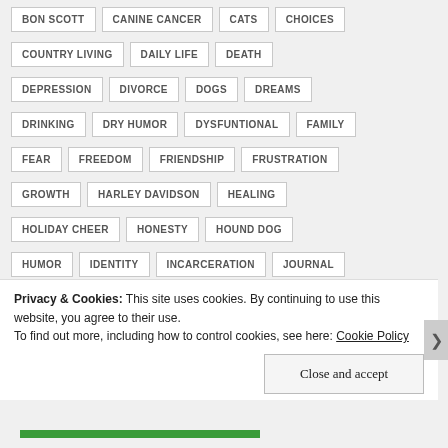BON SCOTT
CANINE CANCER
CATS
CHOICES
COUNTRY LIVING
DAILY LIFE
DEATH
DEPRESSION
DIVORCE
DOGS
DREAMS
DRINKING
DRY HUMOR
DYSFUNTIONAL
FAMILY
FEAR
FREEDOM
FRIENDSHIP
FRUSTRATION
GROWTH
HARLEY DAVIDSON
HEALING
HOLIDAY CHEER
HONESTY
HOUND DOG
HUMOR
IDENTITY
INCARCERATION
JOURNAL
Privacy & Cookies: This site uses cookies. By continuing to use this website, you agree to their use. To find out more, including how to control cookies, see here: Cookie Policy
Close and accept